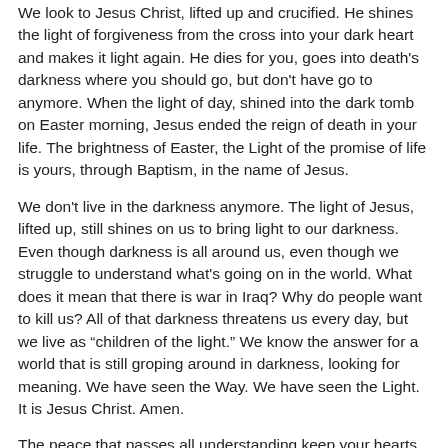We look to Jesus Christ, lifted up and crucified. He shines the light of forgiveness from the cross into your dark heart and makes it light again. He dies for you, goes into death's darkness where you should go, but don't have go to anymore. When the light of day, shined into the dark tomb on Easter morning, Jesus ended the reign of death in your life. The brightness of Easter, the Light of the promise of life is yours, through Baptism, in the name of Jesus.
We don't live in the darkness anymore. The light of Jesus, lifted up, still shines on us to bring light to our darkness. Even though darkness is all around us, even though we struggle to understand what's going on in the world. What does it mean that there is war in Iraq? Why do people want to kill us? All of that darkness threatens us every day, but we live as “children of the light.” We know the answer for a world that is still groping around in darkness, looking for meaning. We have seen the Way. We have seen the Light. It is Jesus Christ. Amen.
The peace that passes all understanding keep your hearts and minds in Christ Jesus. Amen.